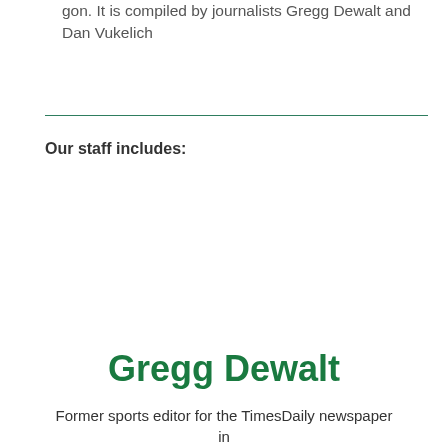gon. It is compiled by journalists Gregg Dewalt and Dan Vukelich
Our staff includes:
Gregg Dewalt
Former sports editor for the TimesDaily newspaper in